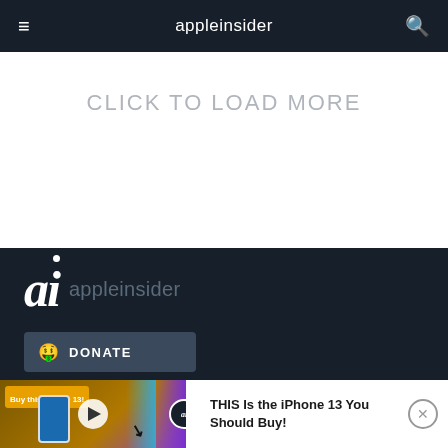appleinsider
CLICK TO LOAD MORE
[Figure (logo): AppleInsider 'ai' logo with stylized italic text and dot above the i, followed by 'appleinsider' in gray]
DONATE
[Figure (screenshot): Video overlay bar showing iPhone 13 promotional video thumbnail with 'Buy this iPhone 13!' badge and play button, alongside text 'THIS Is the iPhone 13 You Should Buy!' with a close button]